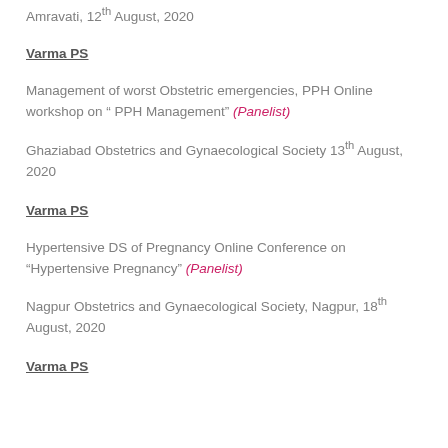Amravati, 12th August, 2020
Varma PS
Management of worst Obstetric emergencies, PPH Online workshop on “ PPH Management” (Panelist)
Ghaziabad Obstetrics and Gynaecological Society 13th August, 2020
Varma PS
Hypertensive DS of Pregnancy Online Conference on “Hypertensive Pregnancy” (Panelist)
Nagpur Obstetrics and Gynaecological Society, Nagpur, 18th August, 2020
Varma PS